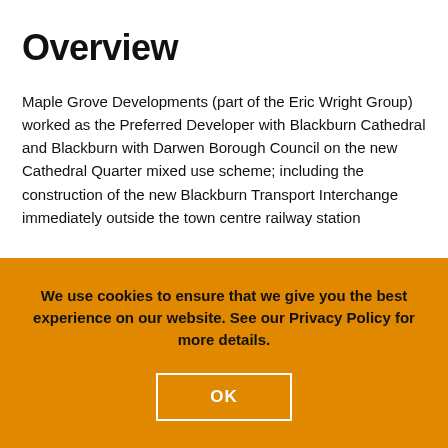Overview
Maple Grove Developments (part of the Eric Wright Group) worked as the Preferred Developer with Blackburn Cathedral and Blackburn with Darwen Borough Council on the new Cathedral Quarter mixed use scheme; including the construction of the new Blackburn Transport Interchange immediately outside the town centre railway station
We use cookies to ensure that we give you the best experience on our website. See our Privacy Policy for more details.
OK